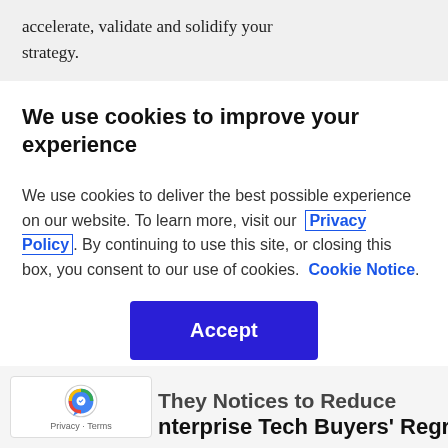accelerate, validate and solidify your strategy.
We use cookies to improve your experience
We use cookies to deliver the best possible experience on our website. To learn more, visit our Privacy Policy. By continuing to use this site, or closing this box, you consent to our use of cookies. Cookie Notice.
Accept
nterprise Tech Buyers' Regret
Privacy · Terms